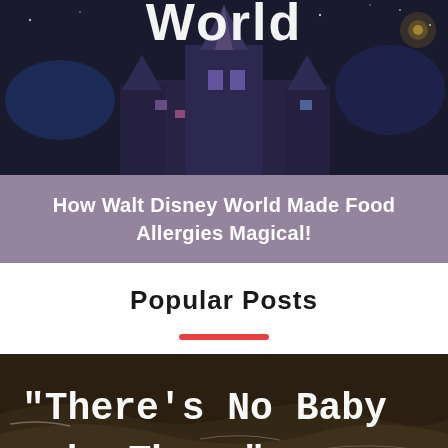[Figure (photo): Dark night photo of Walt Disney World castle illuminated with blue and purple lights, with 'World' text overlay in white at the top]
How Walt Disney World Made Food Allergies Magical!
Popular Posts
[Figure (photo): Sepia/dark tone ocean waves photo with white typewriter-font text reading: "There's No Baby in There". A circular scroll-up button is visible in the bottom right corner.]